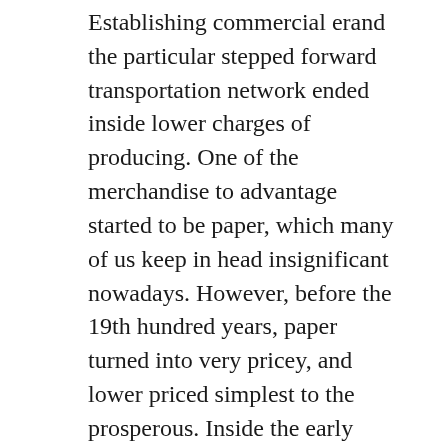Establishing commercial erand the particular stepped forward transportation network ended inside lower charges of producing. One of the merchandise to advantage started to be paper, which many of us keep in head insignificant nowadays. However, before the 19th hundred years, paper turned into very pricey, and lower priced simplest to the prosperous. Inside the early nineteenth century, manufacturing updates ended in an massive discount within the developing value of paper, which in flip, fueled a section of printing Open public literacy blossomed as training became more popular to the increasing center-magnificence. Paper goods such as envelope and stationery have become low priced, in addition to postal provider had simply began within many nations. These kinds of factors blended in order to make writing to own family, pals and loved ones a very elegant interest. A sturdy market advanced for office sets of composing